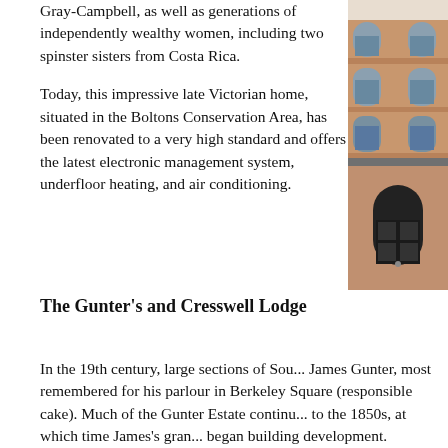Gray-Campbell, as well as generations of independently wealthy women, including two spinster sisters from Costa Rica.
[Figure (photo): Exterior of a late Victorian brick building with arched windows and a black front door]
Today, this impressive late Victorian home, situated in the Boltons Conservation Area, has been renovated to a very high standard and offers the latest electronic management system, underfloor heating, and air conditioning.
The Gunter's and Cresswell Lodge
In the 19th century, large sections of Sou... James Gunter, most remembered for his parlour in Berkeley Square (responsible cake). Much of the Gunter Estate continu... to the 1850s, at which time James's gran... began building development.
However, the location of today's Cressw... of a country house: Cresswell Lodge. It w... Gunter II agreed to the development of t...